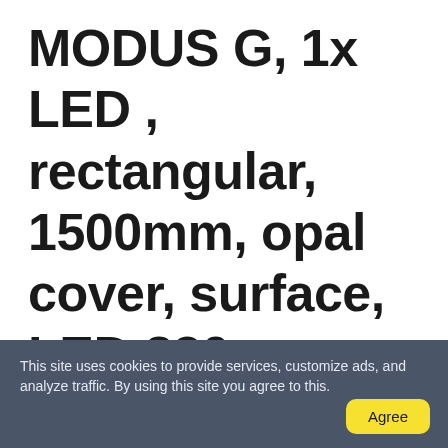MODUS G, 1x LED , rectangular, 1500mm, opal cover, surface, LED 830, 1050mA 1-10V dim
This site uses cookies to provide services, customize ads, and analyze traffic. By using this site you agree to this.